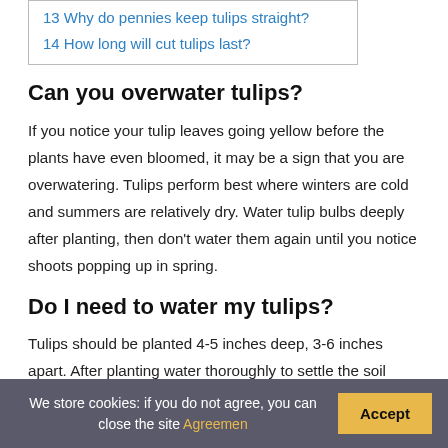13 Why do pennies keep tulips straight?
14 How long will cut tulips last?
Can you overwater tulips?
If you notice your tulip leaves going yellow before the plants have even bloomed, it may be a sign that you are overwatering. Tulips perform best where winters are cold and summers are relatively dry. Water tulip bulbs deeply after planting, then don't water them again until you notice shoots popping up in spring.
Do I need to water my tulips?
Tulips should be planted 4-5 inches deep, 3-6 inches apart. After planting water thoroughly to settle the soil
We store cookies: if you do not agree, you can close the site Agreemen